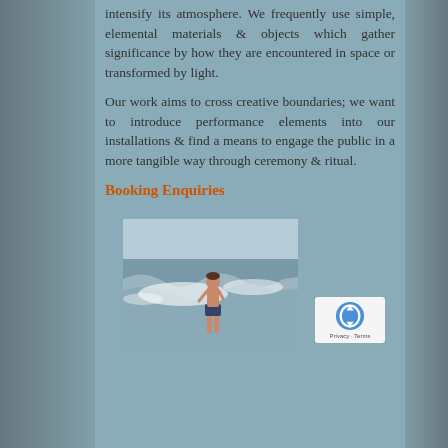intensify its atmosphere. We frequently use simple, elemental materials & objects which gather significance by how they are encountered in space or transformed by light.
Our work aims to cross creative boundaries; we want to introduce performance elements into our installations & find a means to engage the public in a more tangible way through ceremony & ritual.
Booking Enquiries
[Figure (photo): A young boy standing in ocean waves at the beach, with white surf around him]